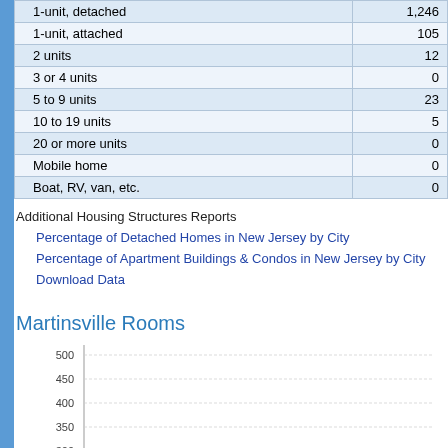|  |  |
| --- | --- |
| 1-unit, detached | 1,246 |
| 1-unit, attached | 105 |
| 2 units | 12 |
| 3 or 4 units | 0 |
| 5 to 9 units | 23 |
| 10 to 19 units | 5 |
| 20 or more units | 0 |
| Mobile home | 0 |
| Boat, RV, van, etc. | 0 |
Additional Housing Structures Reports
Percentage of Detached Homes in New Jersey by City
Percentage of Apartment Buildings & Condos in New Jersey by City
Download Data
Martinsville Rooms
[Figure (bar-chart): Bar chart showing Martinsville Rooms data, y-axis visible from 250 to 500]